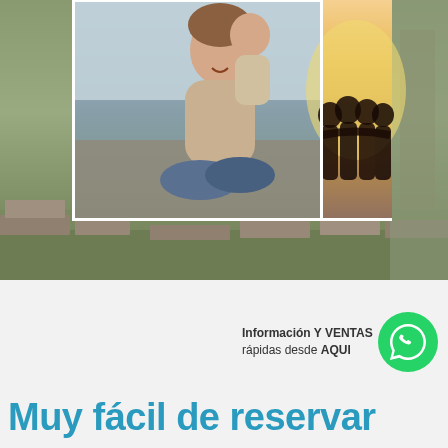[Figure (photo): Photo collage showing three panels: left panel with a man sitting cross-legged smiling with someone, center panel with a group of people silhouetted against a warm sunset background, right panel showing ancient ruins/archaeological site (Machu Picchu area). Bottom portion shows archaeological ruins landscape.]
Información Y VENTAS rápidas desde AQUI
[Figure (logo): WhatsApp logo - green circle with white phone/chat icon]
Muy fácil de reservar